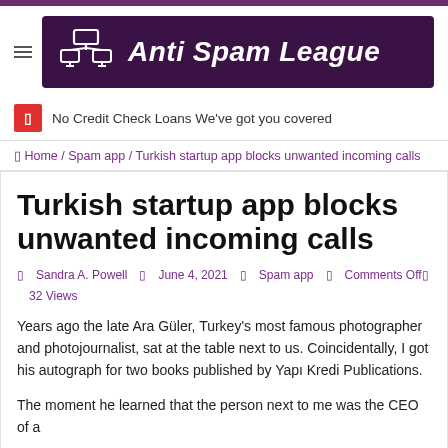Anti Spam League
No Credit Check Loans We've got you covered
❏ Home / Spam app / Turkish startup app blocks unwanted incoming calls
Turkish startup app blocks unwanted incoming calls
❏ Sandra A. Powell  ❏ June 4, 2021  ❏ Spam app  ❏ Comments Off  ❏ 32 Views
Years ago the late Ara Güler, Turkey's most famous photographer and photojournalist, sat at the table next to us. Coincidentally, I got his autograph for two books published by Yapı Kredi Publications.
The moment he learned that the person next to me was the CEO of a